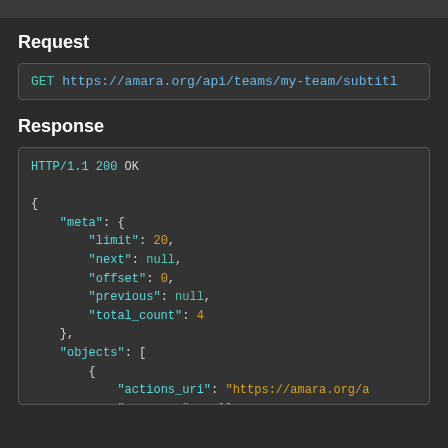Request
GET https://amara.org/api/teams/my-team/subtitl
Response
HTTP/1.1 200 OK

{
    "meta": {
        "limit": 20,
        "next": null,
        "offset": 0,
        "previous": null,
        "total_count": 4
    },
    "objects": [
        {
            "actions_uri": "https://amara.org/a
            "approver": null,
            "completed": null,
            "created": "2017-12-12T16:25:00Z",
            "due_date": null,
            "subtitles_due_date": null,
            "review_due_date": null,